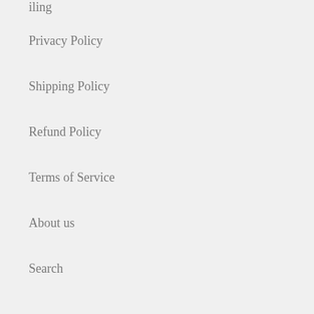iling
Privacy Policy
Shipping Policy
Refund Policy
Terms of Service
About us
Search
The Running Centre
1/1273 Hay St, West Perth